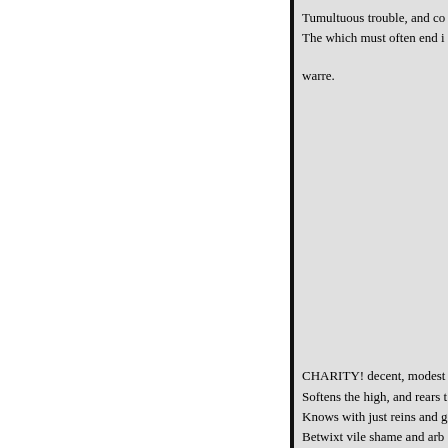Tumultuous trouble, and co[nfusion]
The which must often end i[n...]
warre.
CHARITY! decent, modest...
Softens the high, and rears t[he low]
Knows with just reins and g[...]
Betwixt vile shame and arb[...]
Not soon provok'd, she eas[...]
And much she suffers, as sh[...]
Soft
    peace she brings wherev[er]
She builds our quiet, as she [...]
Lays the rough paths of pee[...]